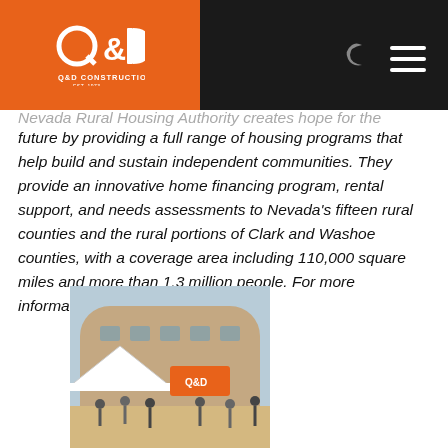Q&D Construction logo and navigation header
Nevada Rural Housing Authority creates hope for the future by providing a full range of housing programs that help build and sustain independent communities. They provide an innovative home financing program, rental support, and needs assessments to Nevada's fifteen rural counties and the rural portions of Clark and Washoe counties, with a coverage area including 110,000 square miles and more than 1.3 million people. For more information, visit www.nvrural.org.
[Figure (photo): Outdoor event or gathering in front of a rounded building, with a white tent and Q&D branded trailer/booth, people milling around on dirt/sandy ground.]